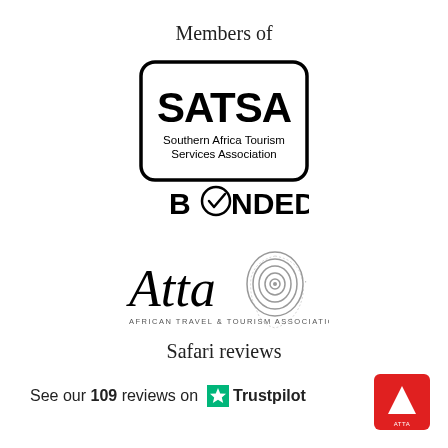Members of
[Figure (logo): SATSA Southern Africa Tourism Services Association BONDED logo with rounded rectangle border and checkmark]
[Figure (logo): Atta African Travel & Tourism Association logo with Africa map fingerprint graphic]
Safari reviews
See our 109 reviews on ★ Trustpilot
[Figure (logo): Red square logo with white upward triangle/caret symbol]